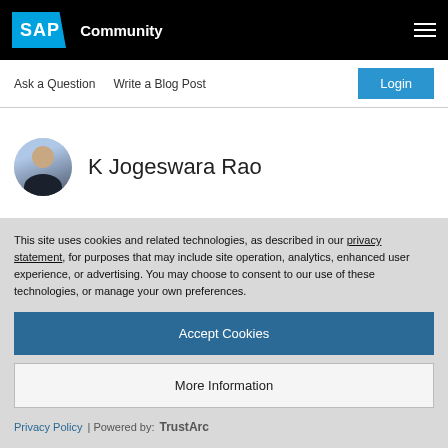SAP Community
Ask a Question   Write a Blog Post
Login
K Jogeswara Rao
This site uses cookies and related technologies, as described in our privacy statement, for purposes that may include site operation, analytics, enhanced user experience, or advertising. You may choose to consent to our use of these technologies, or manage your own preferences.
Accept Cookies
More Information
Privacy Policy | Powered by: TrustArc